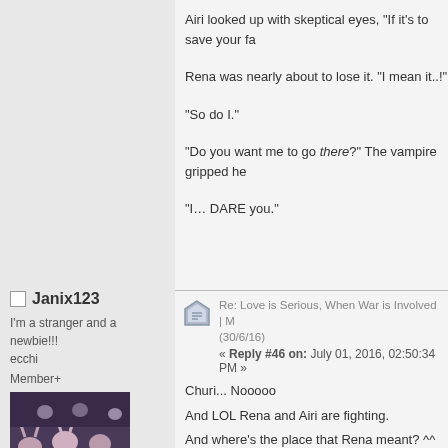Airi looked up with skeptical eyes, "If it's to save your fa...
Rena was nearly about to lose it. "I mean it..!"
“So do I.”
“Do you want me to go there?" The vampire gripped he...
“I… DARE you.”
My Projects :
GenkingBlack's Vault [OS/Short Stories] Last update 4-Apr-17
Brave Enough On Going Last update 16-Mar-17
Love is Serious, When War is Involved  Hiatus Last Update 12-...
Heartsmith | On Going Last Update 19-Oct-17
Hidden Vault | Perv Section
Re: Love is Serious, When War is Involved | M... (30/6/16)
« Reply #46 on: July 01, 2016, 02:50:34 PM »
Churi... Nooooo
And LOL Rena and Airi are fighting.
And where's the place that Rena meant? ^^
Thx for update author-san. 😀
I'm a stranger and a newbie!!!
ecchi
Member+
Janix123